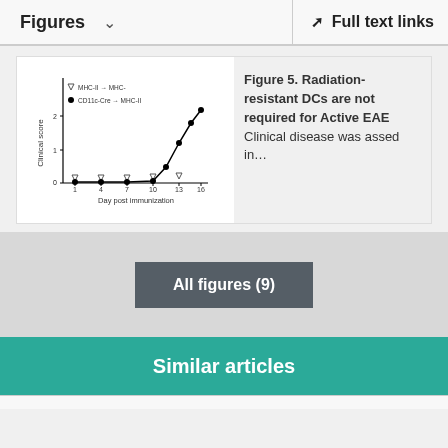Figures  ∨    Full text links
[Figure (continuous-plot): Line chart showing clinical score over days post immunization. Two series: triangles (MHC-II → MHC-) and filled circles (CD11c-Cre → MHC-II). Score rises from 0 to ~2 from day ~10 to day ~16.]
Figure 5. Radiation-resistant DCs are not required for Active EAE Clinical disease was assed in…
All figures (9)
Similar articles